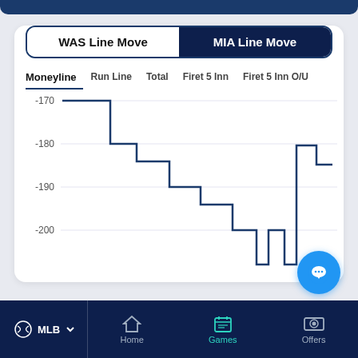WAS Line Move | MIA Line Move
Moneyline
Run Line
Total
Firet 5 Inn
Firet 5 Inn O/U
[Figure (continuous-plot): Step line chart showing MIA moneyline movement. Y-axis ranges from approximately -170 to -200. The line starts around -170, steps down to about -180, then to -190, then to approximately -195, then drops to near -200 at the far right edge. A chat bubble icon overlaps the lower right of the chart.]
MLB ∨   Home   Games   Offers